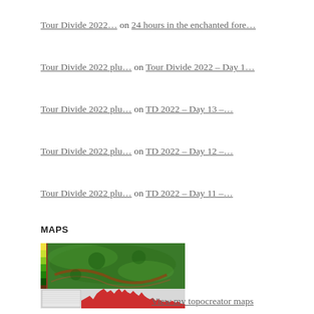Tour Divide 2022… on 24 hours in the enchanted fore…
Tour Divide 2022 plu… on Tour Divide 2022 – Day 1…
Tour Divide 2022 plu… on TD 2022 – Day 13 –…
Tour Divide 2022 plu… on TD 2022 – Day 12 –…
Tour Divide 2022 plu… on TD 2022 – Day 11 –…
MAPS
[Figure (map): Topographic map with elevation profile showing green terrain and a red elevation chart below]
View my topocreator maps